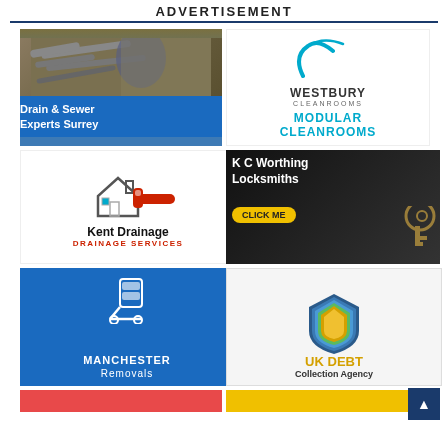ADVERTISEMENT
[Figure (illustration): Drain & Sewer Experts Surrey ad with photo of person working on drain pipes and blue banner text]
[Figure (logo): Westbury Cleanrooms logo with cyan swoosh and text 'MODULAR CLEANROOMS']
[Figure (illustration): Kent Drainage ad with house+key+wrench icon, bold 'Kent Drainage' title and red 'DRAINAGE SERVICES' subtitle]
[Figure (illustration): K C Worthing Locksmiths dark ad with keys photo and yellow 'CLICK ME' button]
[Figure (illustration): Manchester Removals blue ad with trolley/boxes icon and white bold text]
[Figure (logo): UK Debt Collection Agency ad with gold/multi-color shield logo and text]